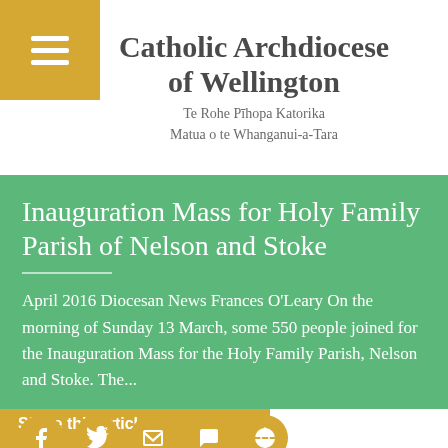Catholic Archdiocese of Wellington
Te Rohe Pīhopa Katorika
Matua o te Whanganui-a-Tara
Inauguration Mass for Holy Family Parish of Nelson and Stoke
April 2016 Diocesan News Frances O'Leary On the morning of Sunday 13 March, some 550 people joined for the Inauguration Mass for the Holy Family Parish, Nelson and Stoke. The...
Share this article